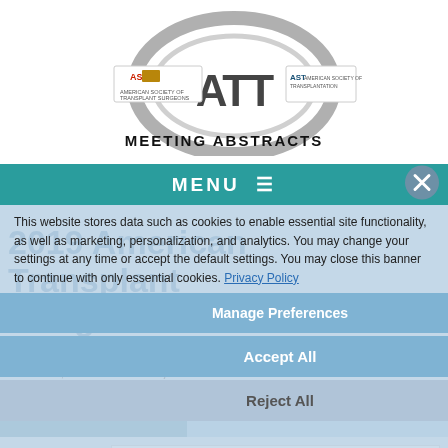[Figure (logo): ATT Meeting Abstracts logo with ASTS and AST logos flanking a stylized ATT emblem on a ribbon/shield, with text MEETING ABSTRACTS below]
MENU ≡
2019 American Transplant Congress
This website stores data such as cookies to enable essential site functionality, as well as marketing, personalization, and analytics. You may change your settings at any time or accept the default settings. You may close this banner to continue with only essential cookies. Privacy Policy
June 1-5, 2019 in Boston, MA
View by Title
View Sessions
Manage Preferences
Accept All
Reject All
View by Date
-- Choose Date --